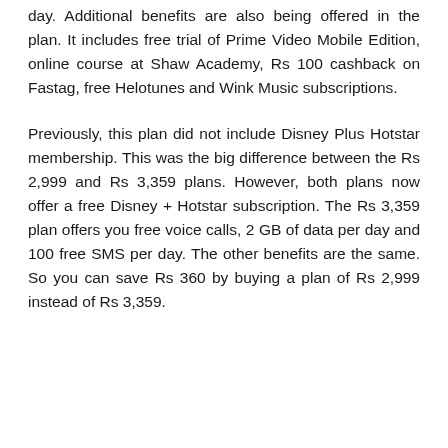day. Additional benefits are also being offered in the plan. It includes free trial of Prime Video Mobile Edition, online course at Shaw Academy, Rs 100 cashback on Fastag, free Helotunes and Wink Music subscriptions.
Previously, this plan did not include Disney Plus Hotstar membership. This was the big difference between the Rs 2,999 and Rs 3,359 plans. However, both plans now offer a free Disney + Hotstar subscription. The Rs 3,359 plan offers you free voice calls, 2 GB of data per day and 100 free SMS per day. The other benefits are the same. So you can save Rs 360 by buying a plan of Rs 2,999 instead of Rs 3,359.